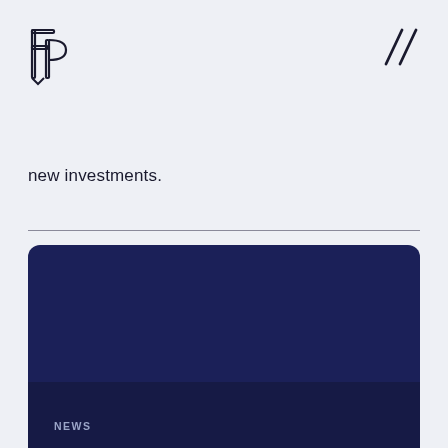[Figure (logo): FP logo mark — two stylized overlapping letter shapes in outline form, dark navy]
[Figure (illustration): Two diagonal slash marks in dark color, top right corner decoration]
new investments.
[Figure (photo): Large dark navy blue rounded rectangle card panel. Bottom section has a slightly darker strip with 'NEWS' label text in light blue-gray uppercase letters.]